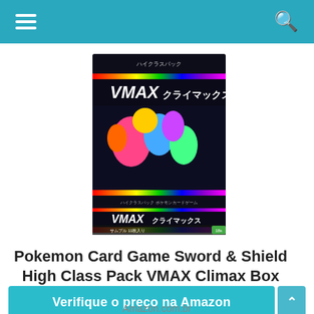☰ (hamburger menu) | 🔍 (search icon)
[Figure (photo): Pokemon Card Game Sword & Shield High Class Pack VMAX Climax booster box product photo, showing a black box with colorful Pokemon characters and VMAX Climax branding in Japanese]
Pokemon Card Game Sword & Shield High Class Pack VMAX Climax Box
Verifique o preço na Amazon
Amazon.com.br